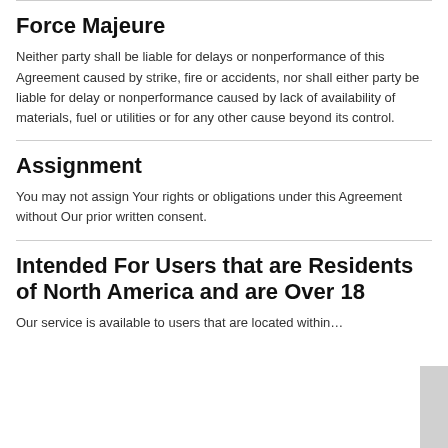Force Majeure
Neither party shall be liable for delays or nonperformance of this Agreement caused by strike, fire or accidents, nor shall either party be liable for delay or nonperformance caused by lack of availability of materials, fuel or utilities or for any other cause beyond its control.
Assignment
You may not assign Your rights or obligations under this Agreement without Our prior written consent.
Intended For Users that are Residents of North America and are Over 18
Our service is available to users that are located within...